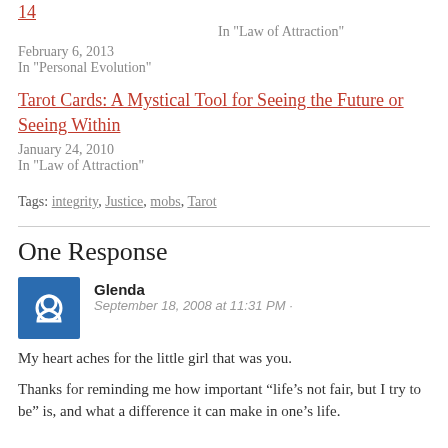14
In "Law of Attraction"
February 6, 2013
In "Personal Evolution"
Tarot Cards: A Mystical Tool for Seeing the Future or Seeing Within
January 24, 2010
In "Law of Attraction"
Tags: integrity, Justice, mobs, Tarot
One Response
Glenda
September 18, 2008 at 11:31 PM ·
My heart aches for the little girl that was you.
Thanks for reminding me how important “life’s not fair, but I try to be” is, and what a difference it can make in one’s life.